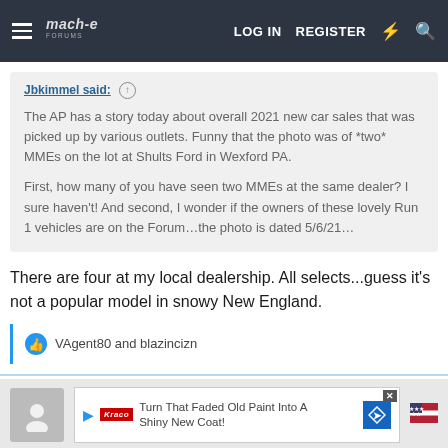Mach-E Forum — LOG IN   REGISTER
Jbkimmel said: ↑

The AP has a story today about overall 2021 new car sales that was picked up by various outlets. Funny that the photo was of *two* MMEs on the lot at Shults Ford in Wexford PA.

First, how many of you have seen two MMEs at the same dealer? I sure haven't! And second, I wonder if the owners of these lovely Run 1 vehicles are on the Forum…the photo is dated 5/6/21…
There are four at my local dealership. All selects...guess it's not a popular model in snowy New England.
VAgent80 and blazincizn
[Figure (other): Advertisement banner: 'Turn That Faded Old Paint Into A Shiny New Coat!' with play button, logo, and diamond-shaped icon]